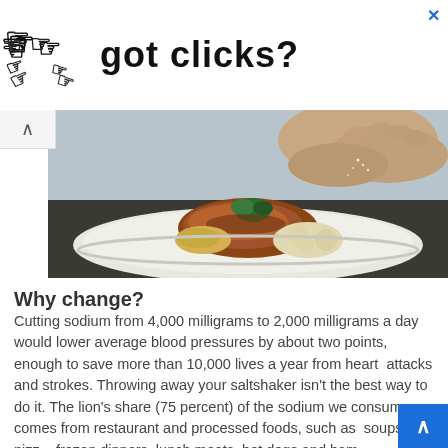[Figure (screenshot): Advertisement banner with pointing hand cursor icons and text 'got clicks?' with a blue X close button in the top right corner]
[Figure (photo): Close-up photo of a chef's hand sprinkling seasoning over a plated dish of meat with garnish and cauliflower on a white plate]
Why change?
Cutting sodium from 4,000 milligrams to 2,000 milligrams a day would lower average blood pressures by about two points, enough to save more than 10,000 lives a year from heart  attacks and strokes. Throwing away your saltshaker isn't the best way to do it. The lion's share (75 percent) of the sodium we consume comes from restaurant and processed foods, such as  soups, pizza, frozen dinners, lunch meats, hot dogs and ham.